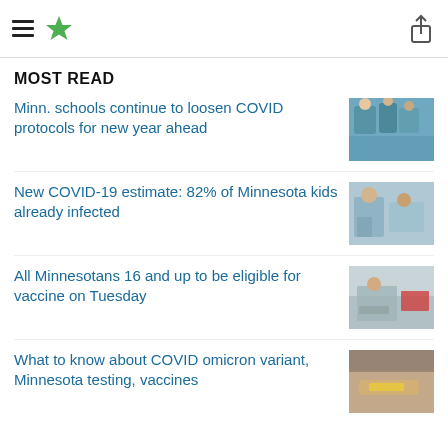MPR News header with hamburger menu and star logo
MOST READ
Minn. schools continue to loosen COVID protocols for new year ahead
New COVID-19 estimate: 82% of Minnesota kids already infected
All Minnesotans 16 and up to be eligible for vaccine on Tuesday
What to know about COVID omicron variant, Minnesota testing, vaccines